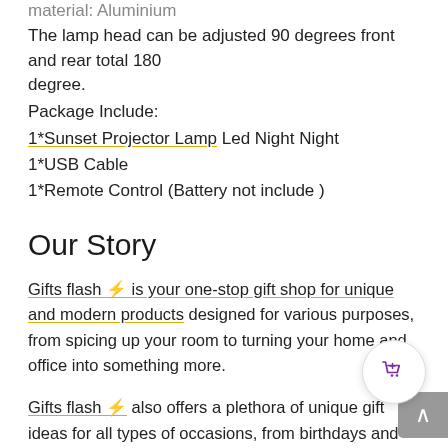material: Aluminium
The lamp head can be adjusted 90 degrees front and rear total 180 degree.
Package Include:
1*Sunset Projector Lamp Led Night Night
1*USB Cable
1*Remote Control (Battery not include )
Our Story
Gifts flash ⚡ is your one-stop gift shop for unique and modern products designed for various purposes, from spicing up your room to turning your home and office into something more.
Gifts flash ⚡ also offers a plethora of unique gift ideas for all types of occasions, from birthdays and anniversaries, to holidays and other special occasions